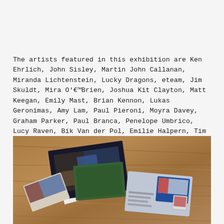The artists featured in this exhibition are Ken Ehrlich, John Sisley, Martin John Callanan, Miranda Lichtenstein, Lucky Dragons, eteam, Jim Skuldt, Mira O’Brien, Joshua Kit Clayton, Matt Keegan, Emily Mast, Brian Kennon, Lukas Geronimas, Amy Lam, Paul Pieroni, Moyra Davey, Graham Parker, Paul Branca, Penelope Umbrico, Lucy Raven, Bik Van der Pol, Emilie Halpern, Tim Ridlen, and Vlatka Horvat.
[Figure (photo): Overhead photo of several postcards, booklets, and printed materials scattered on a wooden floor/table surface. Items include what appear to be exhibition catalogues and mailing pieces, one with a blue label visible.]